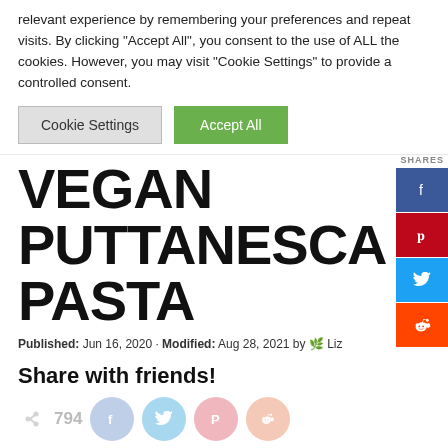relevant experience by remembering your preferences and repeat visits. By clicking "Accept All", you consent to the use of ALL the cookies. However, you may visit "Cookie Settings" to provide a controlled consent.
Cookie Settings | Accept All
VEGAN PUTTANESCA PASTA
SHARES
Published: Jun 16, 2020 · Modified: Aug 28, 2021 by 🌿 Liz
Share with friends!
794